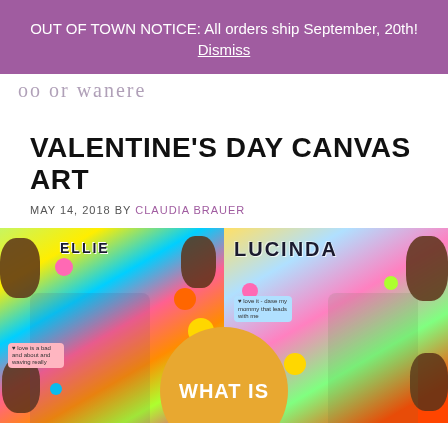OUT OF TOWN NOTICE: All orders ship September, 20th! Dismiss
oo or wanee (cursive logo/brand text)
VALENTINE'S DAY CANVAS ART
MAY 14, 2018 BY CLAUDIA BRAUER
[Figure (photo): Two side-by-side colorful canvas art photos: left shows a girl in a blue denim jacket surrounded by bright neon paint splatters and dots with a pink heart note; right shows 'LUCINDA' written in large letters on colorful canvas with a young child standing in front. A large orange circle with 'WHAT IS' text overlaps both photos at the bottom center.]